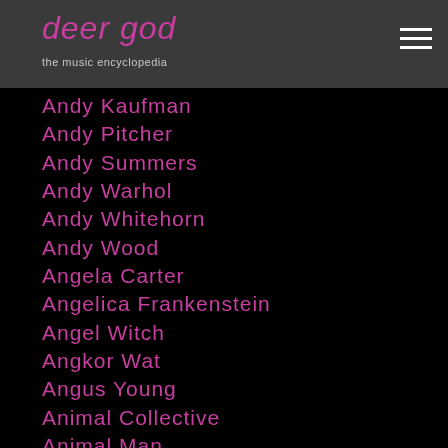deer god
Andy Kaufman
Andy Pitcher
Andy Summers
Andy Warhol
Andy Whitehorn
Andy Wood
Angela Carter
Angelica Frankenstein
Angel Witch
Angkor Wat
Angus Young
Animal Collective
Animal Man
Animals
Animation
Anjoli Chadha
Anna Me...